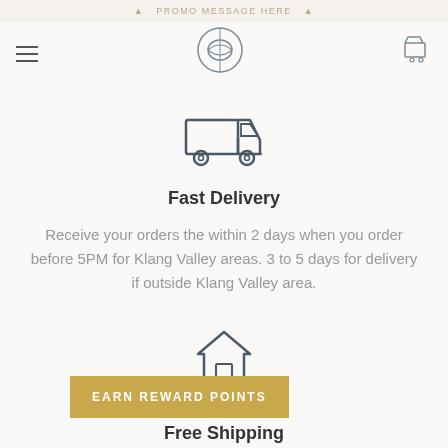MOBILE HEADER / PROMO BAR
[Figure (logo): Circular logo icon in the navigation bar]
[Figure (illustration): Delivery truck icon outline]
Fast Delivery
Receive your orders the within 2 days when you order before 5PM for Klang Valley areas. 3 to 5 days for delivery if outside Klang Valley area.
[Figure (illustration): House/home icon outline for Free Shipping section]
EARN REWARD POINTS
Free Shipping